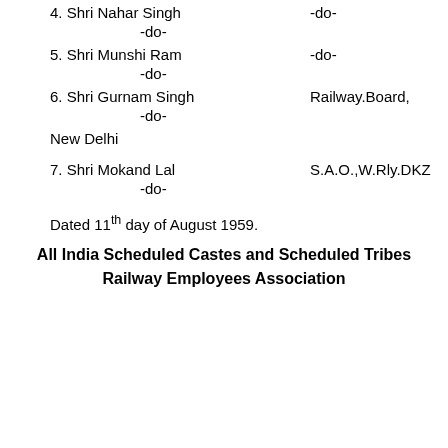4. Shri Nahar Singh   -do-   -do-
5. Shri Munshi Ram   -do-   -do-
6. Shri Gurnam Singh   Railway.Board,   -do-   New Delhi
7. Shri Mokand Lal   S.A.O.,W.Rly.DKZ   -do-
Dated 11th day of August 1959.
All India Scheduled Castes and Scheduled Tribes Railway Employees Association